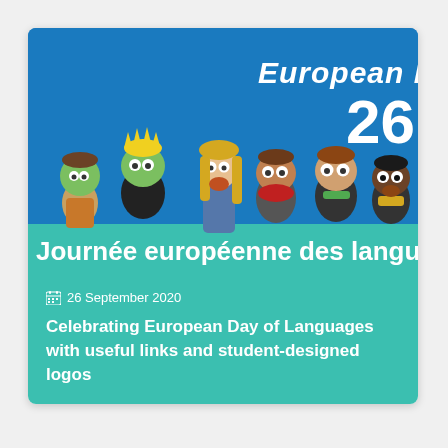[Figure (illustration): Card with European Day of Languages promotional image. Blue background with cartoon characters of diverse appearance standing in a row. White handwritten-style text reads 'European Day' and '26' on the right. Green banner at bottom reads 'Journée européenne des langues' in white text.]
26 September 2020
Celebrating European Day of Languages with useful links and student-designed logos